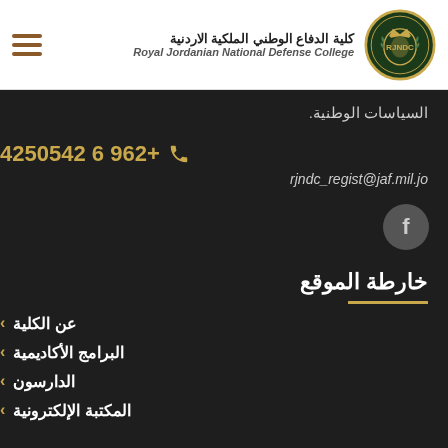كلية الدفاع الوطني الملكية الاردنية | Royal Jordanian National Defense College
السياسات الوطنية.
+962 6 4250542
rjndc_regist@jaf.mil.jo
[Figure (logo): Facebook icon in circular grey button]
خارطة الموقع
عن الكلية
البرامج الأكاديمية
الدارسون
المكتبة الإلكترونية